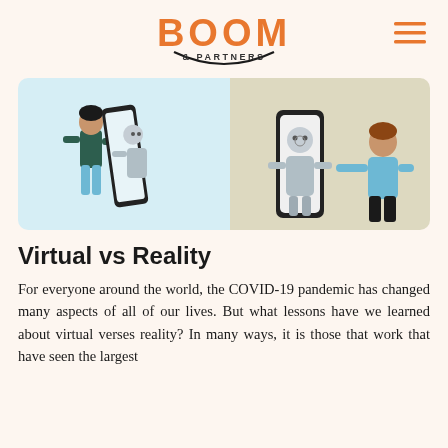BOOM & PARTNERS
[Figure (illustration): Two-panel illustration. Left panel: light blue background showing a person in dark clothes looking at a robot emerging from a phone screen, both facing each other. Right panel: beige/tan background showing a robot on a phone screen and a person in a teal shirt gesturing toward it.]
Virtual vs Reality
For everyone around the world, the COVID-19 pandemic has changed many aspects of all of our lives. But what lessons have we learned about virtual verses reality? In many ways, it is those that work that have seen the largest